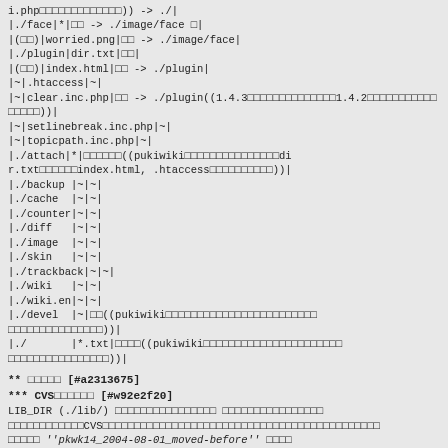i.php□□□□□□□□□□□□□)) -> ./|
|./face|*|□□ -> ./image/face □|
|(□□)|worried.png|□□ -> ./image/face|
|./plugin|dir.txt|□□|
|(□□)|index.html|□□ -> ./plugin|
|~|.htaccess|~|
|~|clear.inc.php|□□ -> ./plugin((1.4.3□□□□□□□□□□□□□□1.4.2□□□□□□□□□□□□□□□□))|
|~|setlinebreak.inc.php|~|
|~|topicpath.inc.php|~|
|./attach|*|□□□□□□((pukiwiki□□□□□□□□□□□□□□□dir.txt□□□□□□index.html, .htaccess□□□□□□□□□□))|
|./backup |~|~|
|./cache  |~|~|
|./counter|~|~|
|./diff   |~|~|
|./image  |~|~|
|./skin   |~|~|
|./trackback|~|~|
|./wiki   |~|~|
|./wiki.en|~|~|
|./devel  |~|□□((pukiwiki□□□□□□□□□□□□□□□□□□□□□□□□□□□□□□□□□))|
|./       |*.txt|□□□□((pukiwiki□□□□□□□□□□□□□□□□□□□□□□□□□□□□□□□□□□))|
** □□□□□ [#a2313675]
*** CVS□□□□□□ [#w92e2f20]
LIB_DIR (./lib/) □□□□□□□□□□□□□□□□ □□□□□□□□□□□□□□□□□□□□□□□□□□□CVS□□□□□□□□□□□□□□□□□□□□□□□□□□□□□□□□□□□□ ''pkwk14_2004-08-01_moved-before'' □□□□□□□□□□□□□□□□(□□□□□□□□□□□□)□□□□□□□□□□□□□□□□□□□□
*** CVS□□□□□□□□ [#v88cb313]
□□□□□□□□□□□□□□□□□□□□□□□□□□